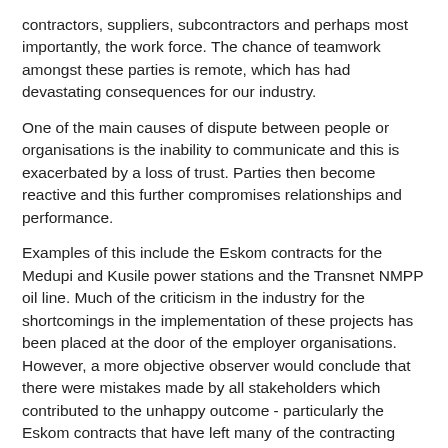contractors, suppliers, subcontractors and perhaps most importantly, the work force. The chance of teamwork amongst these parties is remote, which has had devastating consequences for our industry.
One of the main causes of dispute between people or organisations is the inability to communicate and this is exacerbated by a loss of trust. Parties then become reactive and this further compromises relationships and performance.
Examples of this include the Eskom contracts for the Medupi and Kusile power stations and the Transnet NMPP oil line. Much of the criticism in the industry for the shortcomings in the implementation of these projects has been placed at the door of the employer organisations. However, a more objective observer would conclude that there were mistakes made by all stakeholders which contributed to the unhappy outcome - particularly the Eskom contracts that have left many of the contracting organisations and Eskom in a parlous financial position.
Generally, contract implementation strategies in South Africa are adversarial. We are more comfortable with conflict than working collaboratively. Yet many of the contracting and the employer...